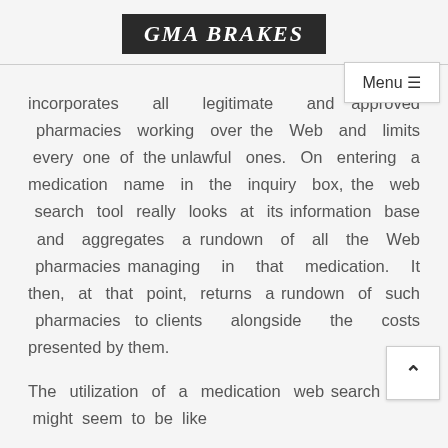GMA BRAKES
incorporates all legitimate and approved pharmacies working over the Web and limits every one of the unlawful ones. On entering a medication name in the inquiry box, the web search tool really looks at its information base and aggregates a rundown of all the Web pharmacies managing in that medication. It then, at that point, returns a rundown of such pharmacies to clients alongside the costs presented by them.
The utilization of a medication web search tool might seem to be like